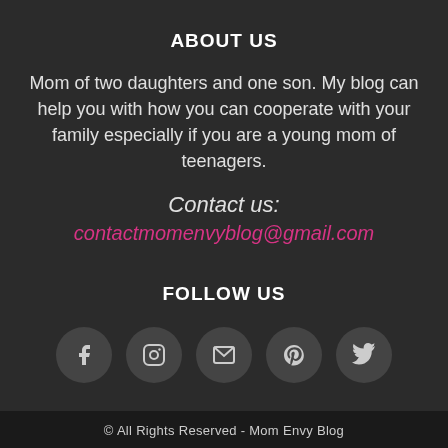ABOUT US
Mom of two daughters and one son. My blog can help you with how you can cooperate with your family especially if you are a young mom of teenagers.
Contact us:
contactmomenvyblog@gmail.com
FOLLOW US
[Figure (infographic): Five social media icon circles: Facebook, Instagram, Email, Pinterest, Twitter]
© All Rights Reserved - Mom Envy Blog